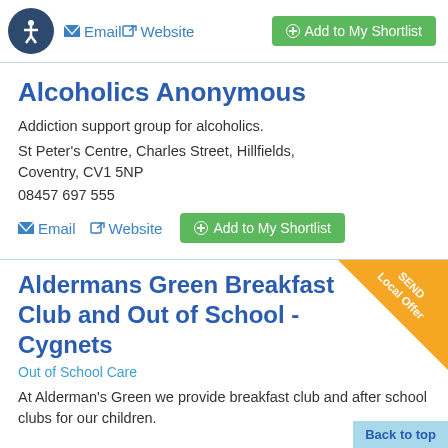Email  Website  Add to My Shortlist
Alcoholics Anonymous
Addiction support group for alcoholics.
St Peter's Centre, Charles Street, Hillfields, Coventry, CV1 5NP
08457 697 555
Email  Website  Add to My Shortlist
Aldermans Green Breakfast Club and Out of School - Cygnets
Out of School Care
At Alderman's Green we provide breakfast club and after school clubs for our children.